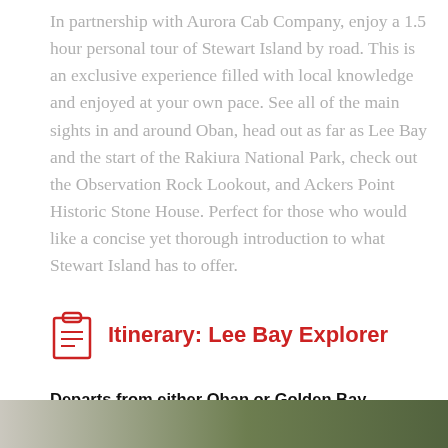In partnership with Aurora Cab Company, enjoy a 1.5 hour personal tour of Stewart Island by road. This is an exclusive experience filled with local knowledge and enjoyed at your own pace. See all of the main sights in and around Oban, head out as far as Lee Bay and the start of the Rakiura National Park, check out the Observation Rock Lookout, and Ackers Point Historic Stone House. Perfect for those who would like a concise yet thorough introduction to what Stewart Island has to offer.
Itinerary: Lee Bay Explorer
Departs from either Oban or Golden Bay.
[Figure (photo): Partial photo at bottom of page showing trees/foliage, cropped]